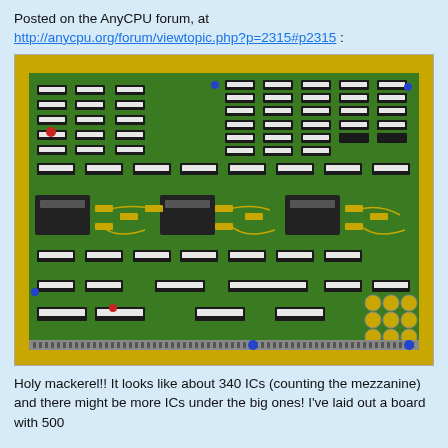Posted on the AnyCPU forum, at http://anycpu.org/forum/viewtopic.php?p=2315#p2315 :
[Figure (photo): Photograph of a large green PCB (printed circuit board) densely populated with approximately 340 ICs (integrated circuits), DIP chips, capacitors, and yellow jumper wires. The board has a yellow edge frame and a connector strip along the bottom.]
Holy mackerel!! It looks like about 340 ICs (counting the mezzanine) and there might be more ICs under the big ones! I've laid out a board with 500